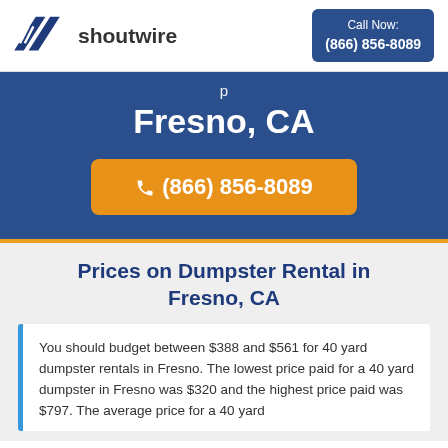shoutwire | Call Now: (866) 856-8089
Fresno, CA
(866) 856-8089
Prices on Dumpster Rental in Fresno, CA
You should budget between $388 and $561 for 40 yard dumpster rentals in Fresno. The lowest price paid for a 40 yard dumpster in Fresno was $320 and the highest price paid was $797. The average price for a 40 yard